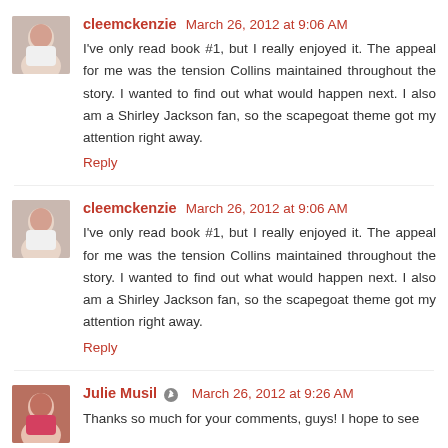cleemckenzie March 26, 2012 at 9:06 AM
I've only read book #1, but I really enjoyed it. The appeal for me was the tension Collins maintained throughout the story. I wanted to find out what would happen next. I also am a Shirley Jackson fan, so the scapegoat theme got my attention right away.
Reply
cleemckenzie March 26, 2012 at 9:06 AM
I've only read book #1, but I really enjoyed it. The appeal for me was the tension Collins maintained throughout the story. I wanted to find out what would happen next. I also am a Shirley Jackson fan, so the scapegoat theme got my attention right away.
Reply
Julie Musil March 26, 2012 at 9:26 AM
Thanks so much for your comments, guys! I hope to see